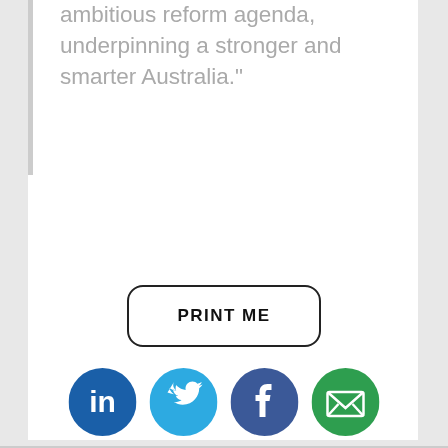ambitious reform agenda, underpinning a stronger and smarter Australia."
[Figure (infographic): PRINT ME button with rounded rectangle border]
[Figure (infographic): Social share icons: LinkedIn (blue circle), Twitter (light blue circle), Facebook (dark blue circle), Email (green circle)]
Share This
[Figure (infographic): Heart outline icon with count 0]
Like This
Categories: Business